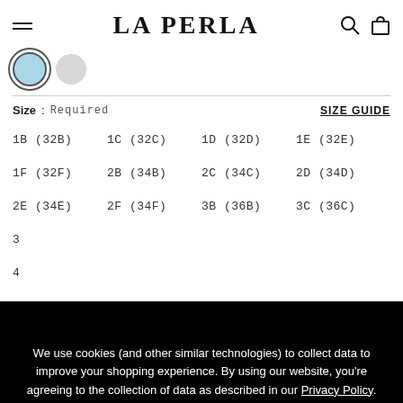LA PERLA
[Figure (other): Two color swatches: one selected (light blue with dark border), one plain grey]
Size : Required   SIZE GUIDE
1B (32B)   1C (32C)   1D (32D)   1E (32E)
1F (32F)   2B (34B)   2C (34C)   2D (34D)
2E (34E)   2F (34F)   3B (36B)   3C (36C)
3D   ...
4...
5...
7B...
We use cookies (and other similar technologies) to collect data to improve your shopping experience. By using our website, you're agreeing to the collection of data as described in our Privacy Policy.